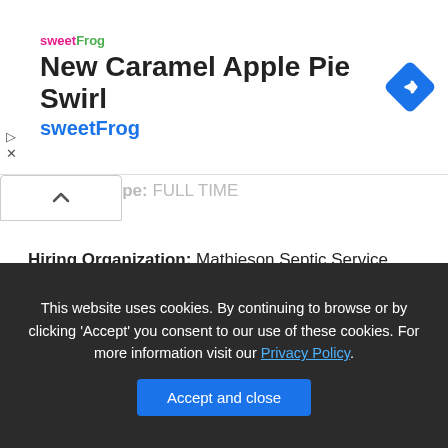[Figure (screenshot): sweetFrog advertisement banner with logo, title 'New Caramel Apple Pie Swirl', subtitle 'sweetFrog', and a blue diamond navigation arrow icon on the right]
Payment Type: FULL TIME
Hiring Organization: Mathieson Septic Service
Street Address: 2743 Pleasant Valley Road
Locality: Marcellus
Region: NY
This website uses cookies. By continuing to browse or by clicking 'Accept' you consent to our use of these cookies. For more information visit our Privacy Policy.
Accept and close